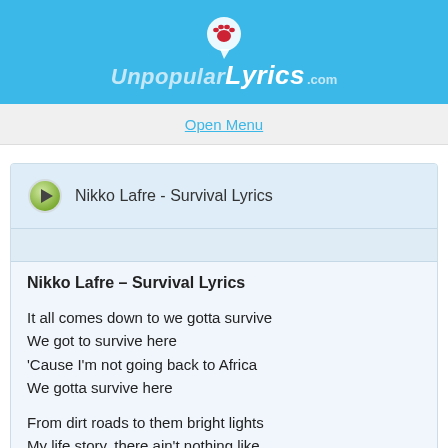UnpopularLyrics.com
Open Menu
Nikko Lafre - Survival Lyrics
Nikko Lafre – Survival Lyrics
It all comes down to we gotta survive
We got to survive here
'Cause I'm not going back to Africa
We gotta survive here

From dirt roads to them bright lights
My life story, there ain't nothing like